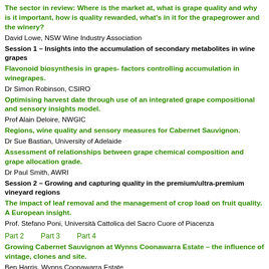The sector in review: Where is the market at, what is grape quality and why is it important, how is quality rewarded, what's in it for the grapegrower and the winery?
David Lowe, NSW Wine Industry Association
Session 1 – Insights into the accumulation of secondary metabolites in wine grapes
Flavonoid biosynthesis in grapes- factors controlling accumulation in winegrapes.
Dr Simon Robinson, CSIRO
Optimising harvest date through use of an integrated grape compositional and sensory insights model.
Prof Alain Deloire, NWGIC
Regions, wine quality and sensory measures for Cabernet Sauvignon.
Dr Sue Bastian, University of Adelaide
Assessment of relationships between grape chemical composition and grape allocation grade.
Dr Paul Smith, AWRI
Session 2 – Growing and capturing quality in the premium/ultra-premium vineyard regions
The impact of leaf removal and the management of crop load on fruit quality. A European insight.
Prof. Stefano Poni, Università Cattolica del Sacro Cuore of Piacenza
Part 2   Part 3   Part 4
Growing Cabernet Sauvignon at Wynns Coonawarra Estate – the influence of vintage, clones and site.
Ben Harris, Wynns Coonawarra Estate
Growing high quality Cabernet Sauvignon in Margaret River